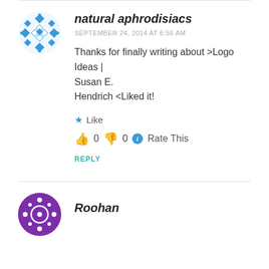[Figure (logo): Blue geometric snowflake/diamond pattern avatar for natural aphrodisiacs commenter]
natural aphrodisiacs
SEPTEMBER 24, 2014 AT 6:56 AM
Thanks for finally writing about >Logo Ideas | Susan E. Hendrich <Liked it!
★ Like
👍 0 👎 0 ℹ Rate This
REPLY
[Figure (logo): Purple circle avatar with white dots/stars pattern for Roohan commenter]
Roohan